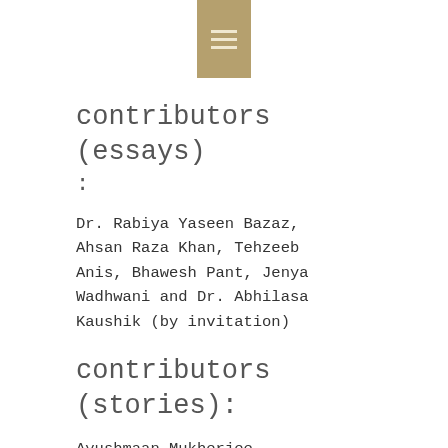[Figure (other): Hamburger menu icon button with tan/gold background at top center of page]
contributors (essays)
:
Dr. Rabiya Yaseen Bazaz, Ahsan Raza Khan, Tehzeeb Anis, Bhawesh Pant, Jenya Wadhwani and Dr. Abhilasa Kaushik (by invitation)
contributors (stories):
Ayushmaan Mukherjee, Aritri Biswas, Ritika Sahay,